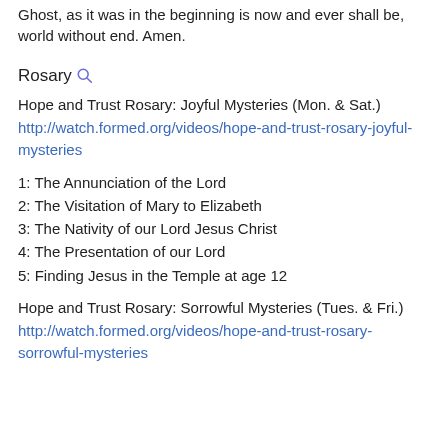Ghost, as it was in the beginning is now and ever shall be, world without end. Amen.
Rosary
Hope and Trust Rosary: Joyful Mysteries (Mon. & Sat.)
http://watch.formed.org/videos/hope-and-trust-rosary-joyful-mysteries
1: The Annunciation of the Lord
2: The Visitation of Mary to Elizabeth
3: The Nativity of our Lord Jesus Christ
4: The Presentation of our Lord
5: Finding Jesus in the Temple at age 12
Hope and Trust Rosary: Sorrowful Mysteries (Tues. & Fri.)
http://watch.formed.org/videos/hope-and-trust-rosary-sorrowful-mysteries